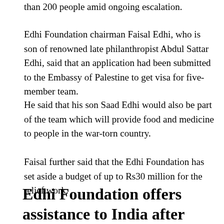than 200 people amid ongoing escalation.
Edhi Foundation chairman Faisal Edhi, who is son of renowned late philanthropist Abdul Sattar Edhi, said that an application had been submitted to the Embassy of Palestine to get visa for five-member team.
He said that his son Saad Edhi would also be part of the team which will provide food and medicine to people in the war-torn country.
Faisal further said that the Edhi Foundation has set aside a budget of up to Rs30 million for the relief work.
Edhi Foundation offers assistance to India after record surge in Covid cases
Last month, the Edhi Foundation offered assistance to India, the